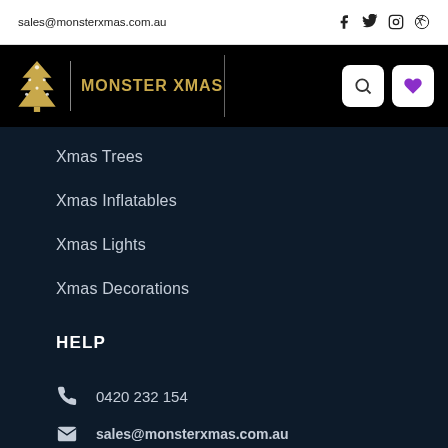sales@monsterxmas.com.au
[Figure (logo): Monster Xmas logo with golden Christmas tree icon and gold text MONSTER XMAS on black background]
Xmas Trees
Xmas Inflatables
Xmas Lights
Xmas Decorations
HELP
0420 232 154
sales@monsterxmas.com.au